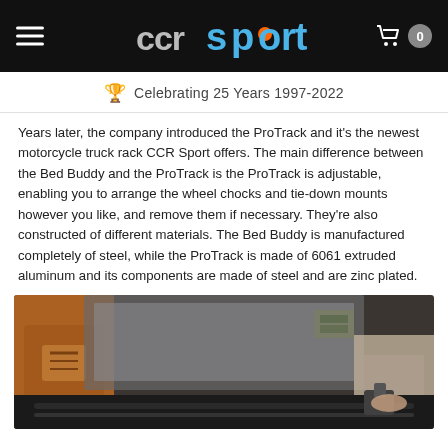CCR Sport — Celebrating 25 Years 1997-2022
Years later, the company introduced the ProTrack and it's the newest motorcycle truck rack CCR Sport offers. The main difference between the Bed Buddy and the ProTrack is the ProTrack is adjustable, enabling you to arrange the wheel chocks and tie-down mounts however you like, and remove them if necessary. They're also constructed of different materials. The Bed Buddy is manufactured completely of steel, while the ProTrack is made of 6061 extruded aluminum and its components are made of steel and are zinc plated.
[Figure (photo): Person in orange jacket working on a motorcycle truck rack mounted in a truck bed, showing the ProTrack product being installed or demonstrated.]